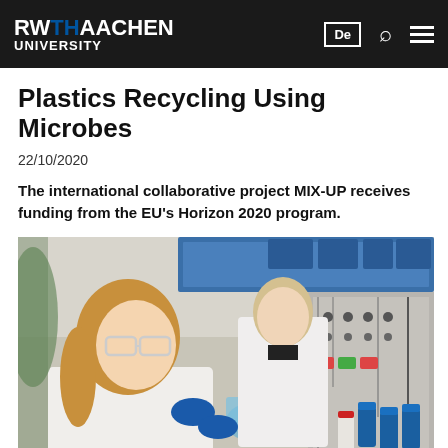RWTH AACHEN UNIVERSITY
Plastics Recycling Using Microbes
22/10/2020
The international collaborative project MIX-UP receives funding from the EU's Horizon 2020 program.
[Figure (photo): Two researchers in white lab coats and blue gloves working with laboratory bioreactor equipment, tubes, and bottles in a laboratory setting.]